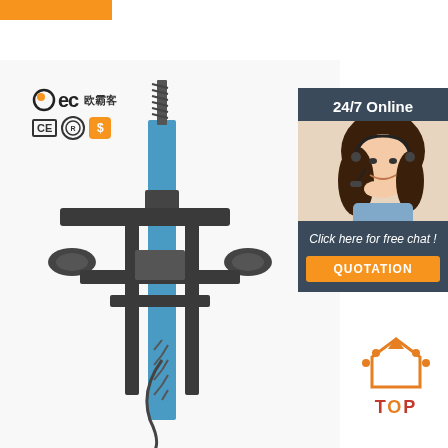[Figure (photo): Orange decorative bar at top-left corner]
[Figure (logo): BEC 欧霸客 company logo with CE, certification, and dollar badge icons]
[Figure (photo): Close-up photo of a tire changer machine with blue column, mechanical arm, and spring components]
[Figure (photo): Customer service panel: dark blue-grey background, '24/7 Online' text, photo of a smiling woman with headset, 'Click here for free chat!' text, and orange QUOTATION button]
[Figure (illustration): Orange TOP badge icon with dots and arrow pointing up, with red TOP text below]